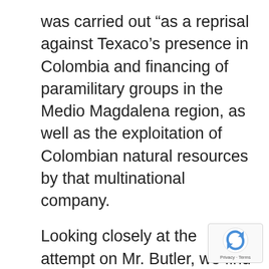was carried out “as a reprisal against Texaco’s presence in Colombia and financing of paramilitary groups in the Medio Magdalena region, as well as the exploitation of Colombian natural resources by that multinational company.
Looking closely at the attempt on Mr. Butler, we find that the terrorists set the bomb off prematurely. The definition of prematurely is .1 sec. to .2 secs. A vehicle traveling 30 mph is traveling at the rate of 45 feet per sec. In .1 sec, the car moves 4.5 feet. The bomb blast hit the front of Mr. Butler’s car. Had the bomb gone off .1 sec